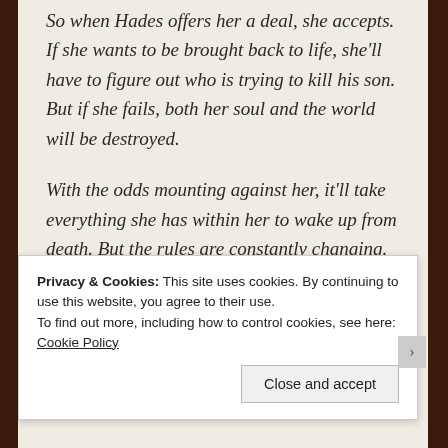So when Hades offers her a deal, she accepts. If she wants to be brought back to life, she'll have to figure out who is trying to kill his son. But if she fails, both her soul and the world will be destroyed.
With the odds mounting against her, it'll take everything she has within her to wake up from death. But the rules are constantly changing. And someone wants her to stay dead.
(This book was formerly titled Death
Privacy & Cookies: This site uses cookies. By continuing to use this website, you agree to their use.
To find out more, including how to control cookies, see here: Cookie Policy